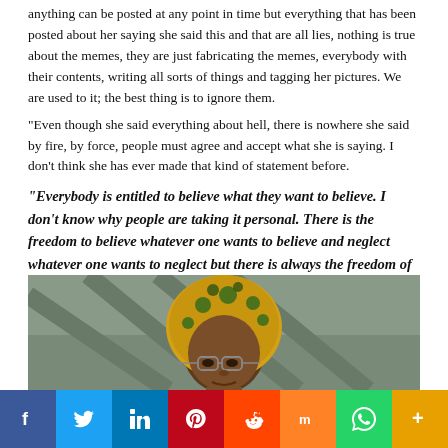anything can be posted at any point in time but everything that has been posted about her saying she said this and that are all lies, nothing is true about the memes, they are just fabricating the memes, everybody with their contents, writing all sorts of things and tagging her pictures. We are used to it; the best thing is to ignore them.
“Even though she said everything about hell, there is nowhere she said by fire, by force, people must agree and accept what she is saying. I don’t think she has ever made that kind of statement before.
“Everybody is entitled to believe what they want to believe. I don’t know why people are taking it personal. There is the freedom to believe whatever one wants to believe and neglect whatever one wants to neglect but there is always the freedom of expression. Even Christ didn’t say that people must accept Him by fore by force as the son of God.”
[Figure (photo): Portrait photo of a woman wearing a yellow and green patterned hijab and glasses]
[Figure (infographic): Social media share bar with Facebook, Twitter, LinkedIn, Pinterest, Reddit, Mix, WhatsApp, and More buttons]